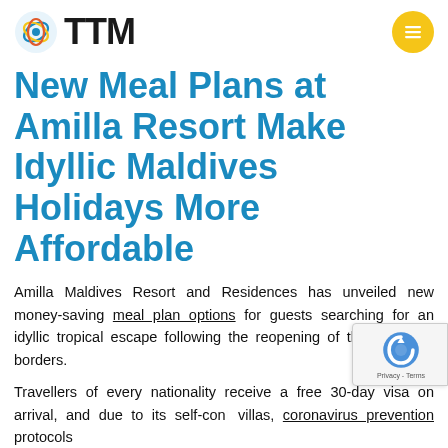TTM
New Meal Plans at Amilla Resort Make Idyllic Maldives Holidays More Affordable
Amilla Maldives Resort and Residences has unveiled new money-saving meal plan options for guests searching for an idyllic tropical escape following the reopening of the Maldives' borders.
Travellers of every nationality receive a free 30-day visa on arrival, and due to its self-contained villas, coronavirus prevention protocols abundance of space to roam, Amilla is pro popular choice. The owners of the luxury resort